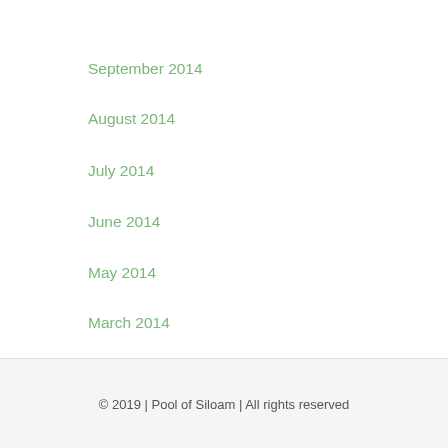September 2014
August 2014
July 2014
June 2014
May 2014
March 2014
December 2013
© 2019 | Pool of Siloam | All rights reserved